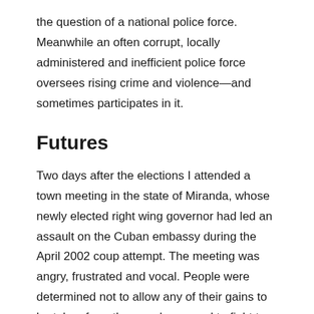the question of a national police force. Meanwhile an often corrupt, locally administered and inefficient police force oversees rising crime and violence—and sometimes participates in it.
Futures
Two days after the elections I attended a town meeting in the state of Miranda, whose newly elected right wing governor had led an assault on the Cuban embassy during the April 2002 coup attempt. The meeting was angry, frustrated and vocal. People were determined not to allow any of their gains to be taken from them and prepared to fight to preserve them. Everyone talked at once—until Chavez was mentioned, at which point all present chanted his name in perfect unison.